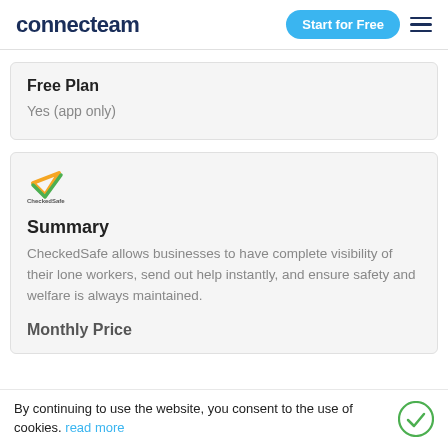connecteam — Start for Free
Free Plan
Yes (app only)
[Figure (logo): CheckedSafe logo — a checkmark in green and yellow/orange colors above the text 'CheckedSafe']
Summary
CheckedSafe allows businesses to have complete visibility of their lone workers, send out help instantly, and ensure safety and welfare is always maintained.
Monthly Price
By continuing to use the website, you consent to the use of cookies. read more